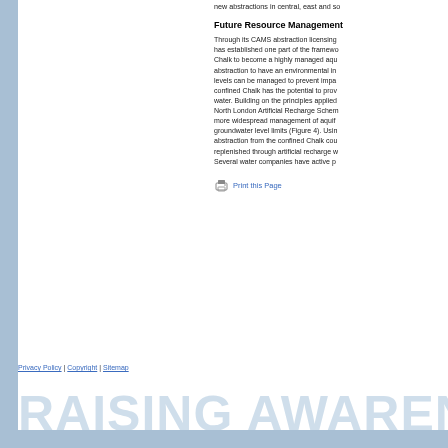new abstractions in central, east and so
Future Resource Management
Through its CAMS abstraction licensing has established one part of the framewo Chalk to become a highly managed aqu abstraction to have an environmental in levels can be managed to prevent impa confined Chalk has the potential to prov water. Building on the principles applied North London Artificial Recharge Schem more widespread management of aquif groundwater level limits (Figure 4). Usin abstraction from the confined Chalk cou replenished through artificial recharge w Several water companies have active p
Print this Page
Privacy Policy | Copyright | Sitemap
RAISING AWARENE